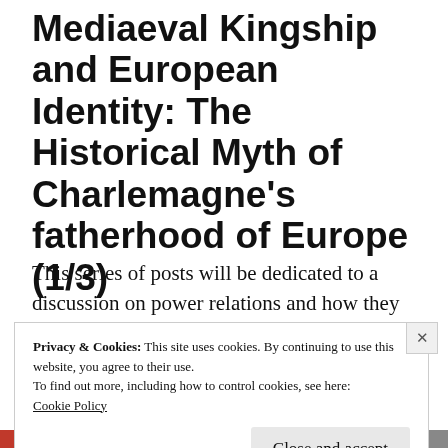Mediaeval Kingship and European Identity: The Historical Myth of Charlemagne's fatherhood of Europe (1/3)
This series of posts will be dedicated to a discussion on power relations and how they
Privacy & Cookies: This site uses cookies. By continuing to use this website, you agree to their use.
To find out more, including how to control cookies, see here: Cookie Policy
Close and accept